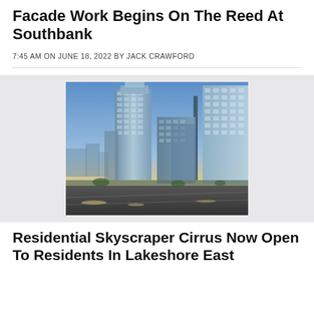Facade Work Begins On The Reed At Southbank
7:45 AM ON JUNE 18, 2022 BY JACK CRAWFORD
[Figure (photo): Architectural rendering of tall glass skyscrapers including The Reed at Southbank, photographed at dusk with highway traffic in foreground and city skyline in background]
Residential Skyscraper Cirrus Now Open To Residents In Lakeshore East